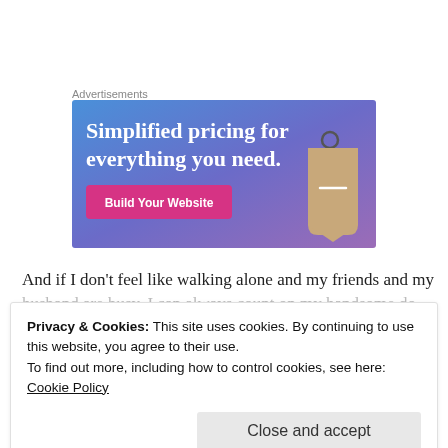Advertisements
[Figure (illustration): Advertisement banner with blue-to-purple gradient background. Large white serif text reads 'Simplified pricing for everything you need.' A pink/magenta button labeled 'Build Your Website' appears below. A price tag graphic appears on the right side.]
And if I don't feel like walking alone and my friends and my husband are busy, I can always count on my handsome do
Privacy & Cookies: This site uses cookies. By continuing to use this website, you agree to their use.
To find out more, including how to control cookies, see here: Cookie Policy
Close and accept
go